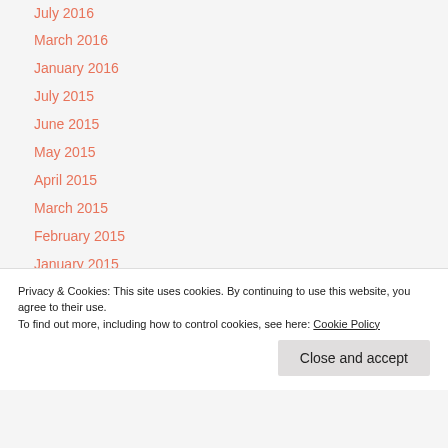July 2016
March 2016
January 2016
July 2015
June 2015
May 2015
April 2015
March 2015
February 2015
January 2015
October 2014
Privacy & Cookies: This site uses cookies. By continuing to use this website, you agree to their use. To find out more, including how to control cookies, see here: Cookie Policy